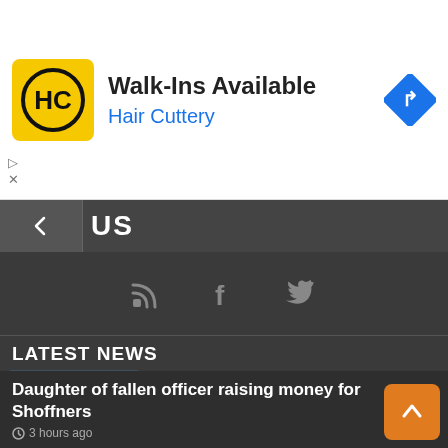[Figure (screenshot): Hair Cuttery advertisement banner with logo, Walk-Ins Available text, and navigation icon]
[Figure (screenshot): Dark navigation bar with back arrow and 'US' text, social media icons (RSS, Facebook, Twitter)]
LATEST NEWS
[Figure (photo): Thumbnail image showing 3.3 unemployment gauge graphic]
Unemployment stays at 3.3%
3 hours ago
[Figure (photo): Dark thumbnail image showing a silhouette]
Harriman fugitive apprehended in Illinois
3 hours ago
Daughter of fallen officer raising money for Shoffners
3 hours ago